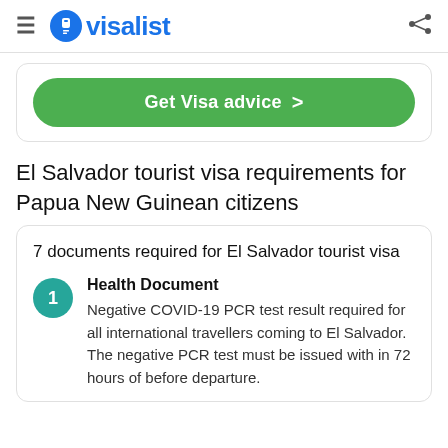visalist
[Figure (screenshot): Green 'Get Visa advice >' button inside a rounded card]
El Salvador tourist visa requirements for Papua New Guinean citizens
7 documents required for El Salvador tourist visa
Health Document
Negative COVID-19 PCR test result required for all international travellers coming to El Salvador. The negative PCR test must be issued with in 72 hours of before departure.